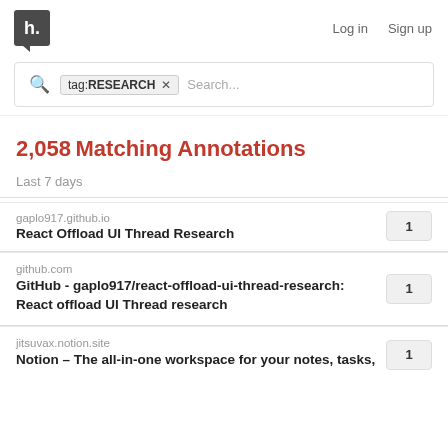h. Log in Sign up
[Figure (screenshot): Search bar with tag filter showing 'tag: RESEARCH x' and Search... placeholder]
2,058 Matching Annotations
Last 7 days
gaplo917.github.io — React Offload UI Thread Research — 1
github.com — GitHub - gaplo917/react-offload-ui-thread-research: React offload UI Thread research — 1
jitsuvax.notion.site — Notion – The all-in-one workspace for your notes, tasks, — 1